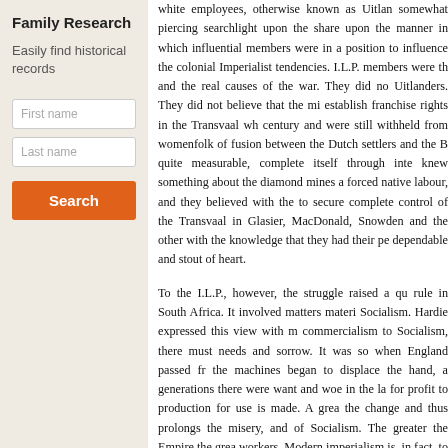Family Research
Easily find historical records
First name
Last name
Search
white employees, otherwise known as Uitlan somewhat piercing searchlight upon the share upon the manner in which influential members were in a position to influence the colonial Imperialist tendencies. I.L.P. members were th and the real causes of the war. They did no Uitlanders. They did not believe that the mi establish franchise rights in the Transvaal wh century and were still withheld from womenfolk of fusion between the Dutch settlers and the B quite measurable, complete itself through inte knew something about the diamond mines a forced native labour, and they believed with the to secure complete control of the Transvaal in Glasier, MacDonald, Snowden and the other with the knowledge that they had their pe dependable and stout of heart.
To the I.L.P., however, the struggle raised a qu rule in South Africa. It involved matters materi Socialism. Hardie expressed this view with m commercialism to Socialism, there must needs and sorrow. It was so when England passed fr the machines began to displace the hand, a generations there were want and woe in the la for profit to production for use is made. A grea the change and thus prolongs the misery, and of Socialism. The greater the Empire the grea workers. Modern imperialism is, in fact, to the militant phase."